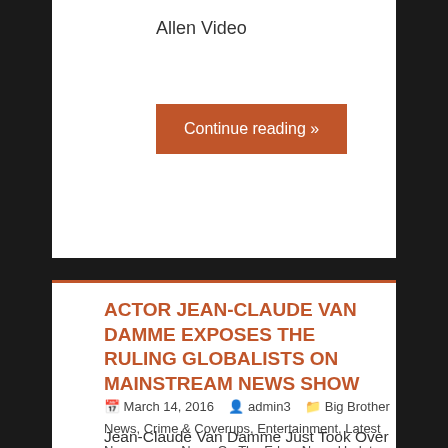Allen Video
Continue reading »
ACTOR JEAN-CLAUDE VAN DAMME EXPOSES THE RULING GLOBALISTS ON MAINSTREAM NEWS SHOW
March 14, 2016  admin3  Big Brother News, Crime & Coverups, Entertainment, Latest News, news, News On The Edge, News Updates, Opinion, Politics, World News  0 Comments
Jean-Claude Van Damme Just Took Over a Mainstream News Show to Expose the Ruling Class Elite By Matt Agorist Last month,